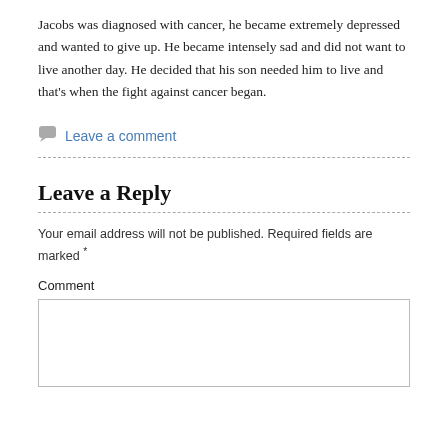Jacobs was diagnosed with cancer, he became extremely depressed and wanted to give up. He became intensely sad and did not want to live another day. He decided that his son needed him to live and that's when the fight against cancer began.
Leave a comment
Leave a Reply
Your email address will not be published. Required fields are marked *
Comment